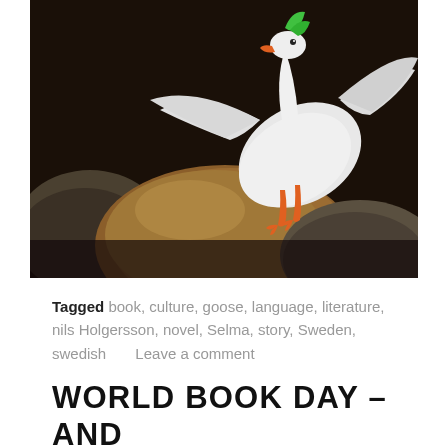[Figure (photo): A white goose with green and orange accents (appears to be a sculptural or toy figure) perched on top of large rounded brown and grey rocks, photographed in a dark indoor setting.]
Tagged book, culture, goose, language, literature, nils Holgersson, novel, Selma, story, Sweden, swedish      Leave a comment
WORLD BOOK DAY – AND MY BOOK ON SWEDEN